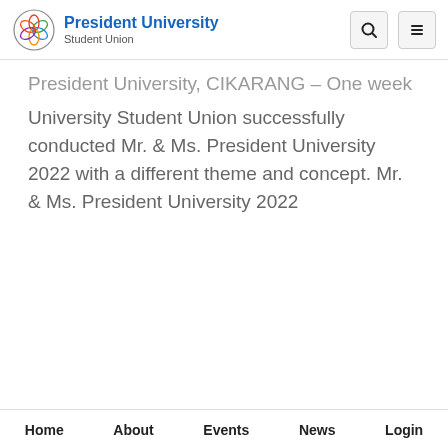President University Student Union
President University, CIKARANG – One week ago, President University Student Union successfully conducted Mr. & Ms. President University 2022 with a different theme and concept. Mr. & Ms. President University 2022
Home   About   Events   News   Login